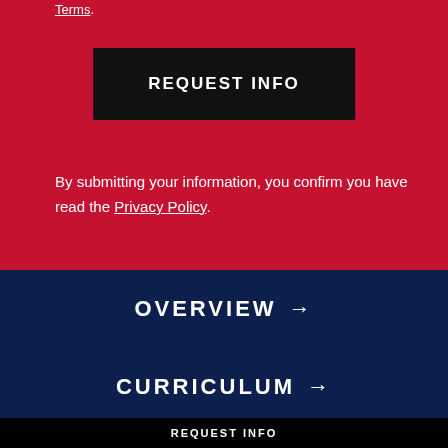Terms.
REQUEST INFO
By submitting your information, you confirm you have read the Privacy Policy.
OVERVIEW →
CURRICULUM →
REQUEST INFO